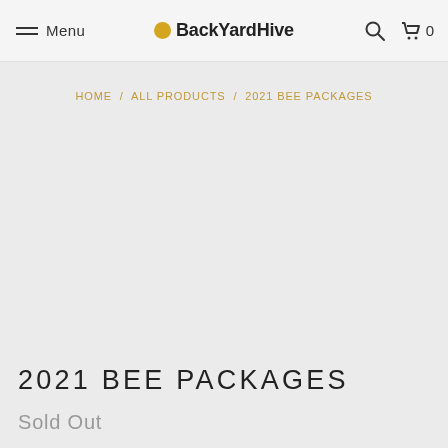Menu | BackYardHive | Search | Cart 0
HOME / ALL PRODUCTS / 2021 BEE PACKAGES
2021 BEE PACKAGES
Sold Out